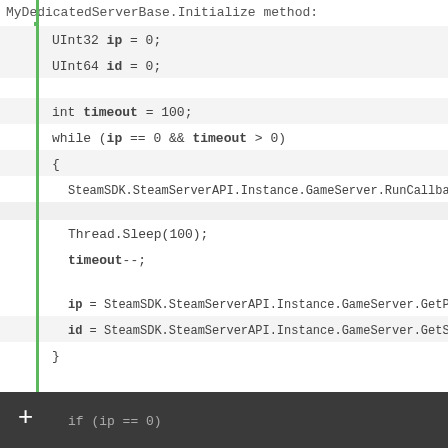MyDedicatedServerBase.Initialize method:
[Figure (screenshot): Code snippet showing C# method body with variable declarations, a while loop calling SteamSDK API methods, and a MySandboxGame service assignment. Includes a footer bar with a plus sign and partial if statement.]